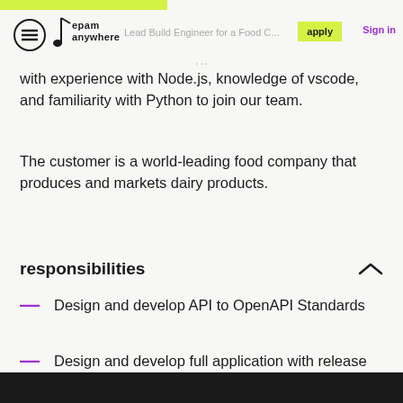Lead Build Engineer for a Food C... | apply | Sign in
with experience with Node.js, knowledge of vscode, and familiarity with Python to join our team.
The customer is a world-leading food company that produces and markets dairy products.
responsibilities
Design and develop API to OpenAPI Standards
Design and develop full application with release management